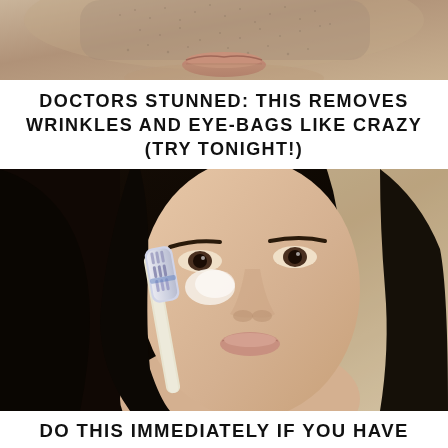[Figure (photo): Close-up photo of a man's lower face showing stubble/beard and lips, cropped to show only the lower portion of the face]
DOCTORS STUNNED: THIS REMOVES WRINKLES AND EYE-BAGS LIKE CRAZY (TRY TONIGHT!)
[Figure (photo): Photo of a young woman with dark hair holding a toothbrush up to her nose/face area, appearing to apply something to her skin]
DO THIS IMMEDIATELY IF YOU HAVE MOLES OR SKIN TAGS, IT'S GENIUS